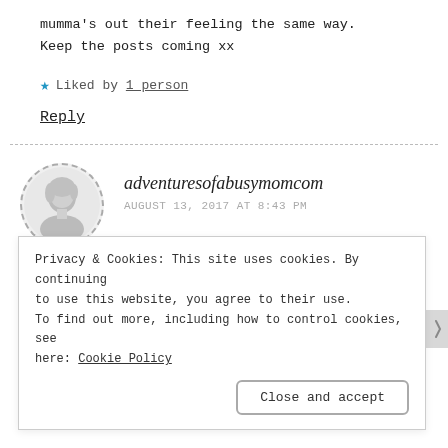mumma's out their feeling the same way. Keep the posts coming xx
★ Liked by 1 person
Reply
adventuresofabusymomcom
AUGUST 13, 2017 AT 8:43 PM
Thanks for reading. I hope you could...
Privacy & Cookies: This site uses cookies. By continuing to use this website, you agree to their use. To find out more, including how to control cookies, see here: Cookie Policy
Close and accept